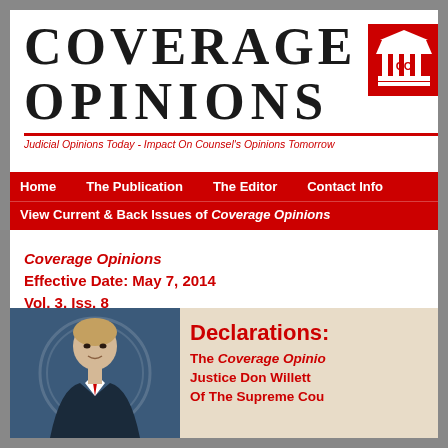COVERAGE OPINIONS
Judicial Opinions Today - Impact On Counsel's Opinions Tomorrow
Home | The Publication | The Editor | Contact Info | View Current & Back Issues of Coverage Opinions
Coverage Opinions
Effective Date: May 7, 2014
Vol. 3, Iss. 8
[Figure (photo): Portrait photo of a man in a dark suit against a blue background with seal watermark]
Declarations: The Coverage Opinions Justice Don Willett Of The Supreme Court